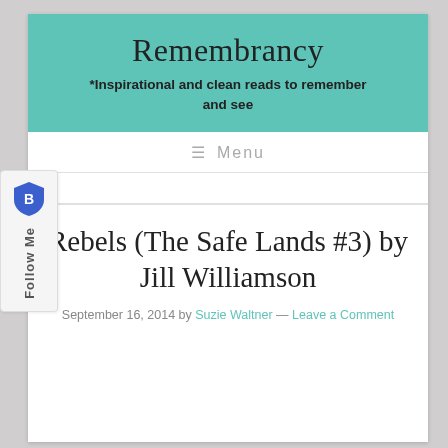Remembrancy
*Inspirational and clean reads to remember and see
≡  Menu
Rebels (The Safe Lands #3) by Jill Williamson
September 16, 2014 by Suzie Waltner — Leave a Comment